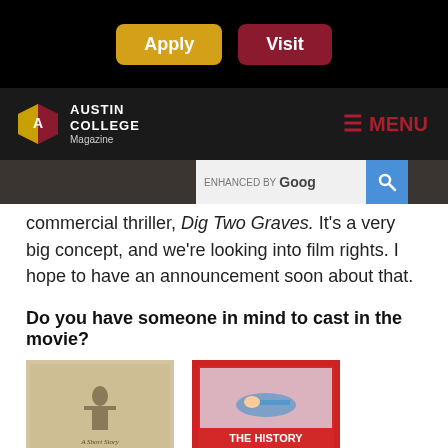[Figure (screenshot): Apply and Visit buttons on black background navigation bar]
Austin College Magazine — MENU
[Figure (screenshot): Search bar with ENHANCED BY Google text and blue search button]
commercial thriller, Dig Two Graves. It's a very big concept, and we're looking into film rights. I hope to have an announcement soon about that.
Do you have someone in mind to cast in the movie?
[Figure (photo): Two book covers side by side: 'Capote in Kansas' on the left (tan cover) and 'The History of Swimming' on the right (red cover with swimmer illustration)]